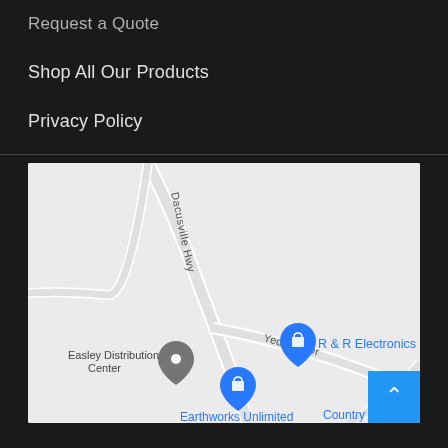Request a Quote
Shop All Our Products
Privacy Policy
[Figure (map): Google Maps view showing Dacusville Hwy and Yeoman Dr intersection area with location pins for Earthworks Unlimited, R & R Electronics, Easley Distribution Center, and Country Mart. A back-to-top button (blue, with up chevron) is in the bottom-right corner.]